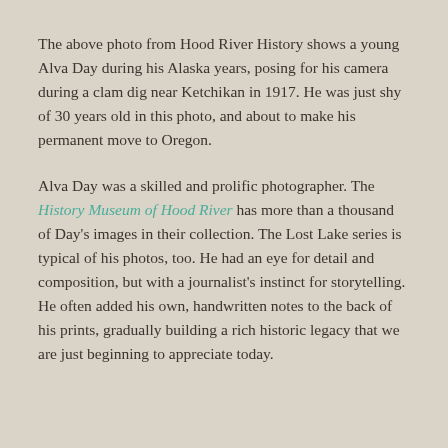The above photo from Hood River History shows a young Alva Day during his Alaska years, posing for his camera during a clam dig near Ketchikan in 1917. He was just shy of 30 years old in this photo, and about to make his permanent move to Oregon.
Alva Day was a skilled and prolific photographer. The History Museum of Hood River has more than a thousand of Day's images in their collection. The Lost Lake series is typical of his photos, too. He had an eye for detail and composition, but with a journalist's instinct for storytelling. He often added his own, handwritten notes to the back of his prints, gradually building a rich historic legacy that we are just beginning to appreciate today.